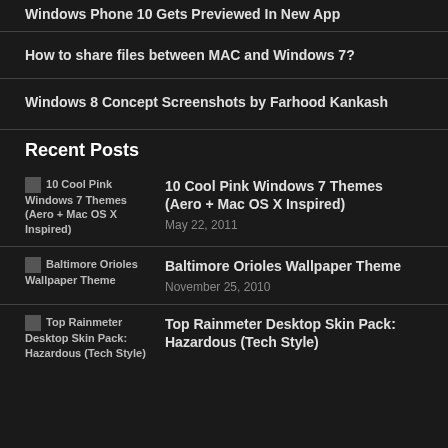Windows Phone 10 Gets Previewed In New App
How to share files between MAC and Windows 7?
Windows 8 Concept Screenshots by Farhood Kankash
Recent Posts
10 Cool Pink Windows 7 Themes (Aero + Mac OS X Inspired) | May 22, 2011
Baltimore Orioles Wallpaper Theme | November 25, 2010
Top Rainmeter Desktop Skin Pack: Hazardous (Tech Style)